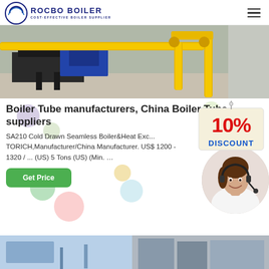ROCBO BOILER — COST-EFFECTIVE BOILER SUPPLIER
[Figure (photo): Industrial boiler equipment with yellow pipes and black metal framework in a factory setting]
Boiler Tube manufacturers, China Boiler Tube suppliers
[Figure (infographic): 10% Discount badge/tag in red and blue on cream background]
SA210 Cold Drawn Seamless Boiler&Heat Exc... TORICH,Manufacturer/China Manufacturer. US$ 1200 - 1320 / ... (US) 5 Tons (US) (Min. …
[Figure (photo): Green Get Price button]
[Figure (photo): Customer service agent — woman with headset smiling, in a circular frame]